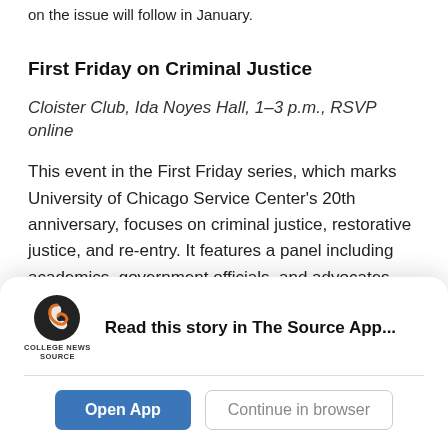on the issue will follow in January.
First Friday on Criminal Justice
Cloister Club, Ida Noyes Hall, 1–3 p.m., RSVP online
This event in the First Friday series, which marks University of Chicago Service Center's 20th anniversary, focuses on criminal justice, restorative justice, and re-entry. It features a panel including academics, government officials, and advocates followed by round-table discussions.
Read this story in The Source App...
Open App
Continue in browser